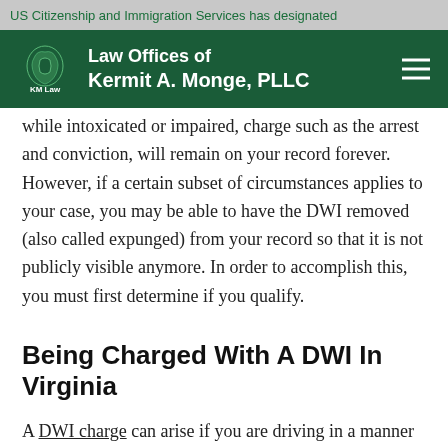US Citizenship and Immigration Services has designated
[Figure (logo): KM Law - Law Offices of Kermit A. Monge, PLLC logo with green lion/bear emblem on dark green navigation bar]
while intoxicated or impaired, charge such as the arrest and conviction, will remain on your record forever. However, if a certain subset of circumstances applies to your case, you may be able to have the DWI removed (also called expunged) from your record so that it is not publicly visible anymore. In order to accomplish this, you must first determine if you qualify.
Being Charged With A DWI In Virginia
A DWI charge can arise if you are driving in a manner that indicates that you are impaired. It is important